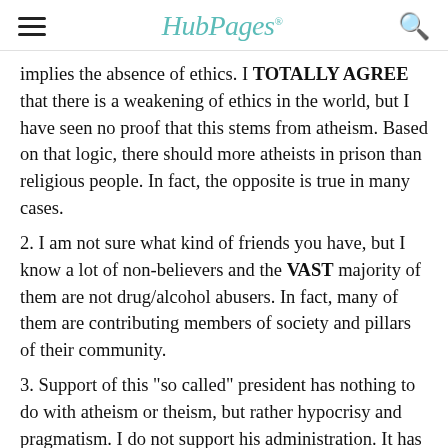HubPages
implies the absence of ethics. I TOTALLY AGREE that there is a weakening of ethics in the world, but I have seen no proof that this stems from atheism. Based on that logic, there should more atheists in prison than religious people. In fact, the opposite is true in many cases.
2. I am not sure what kind of friends you have, but I know a lot of non-believers and the VAST majority of them are not drug/alcohol abusers. In fact, many of them are contributing members of society and pillars of their community.
3. Support of this "so called" president has nothing to do with atheism or theism, but rather hypocrisy and pragmatism. I do not support his administration. It has nothing to do with my belief structure and everything to do with my support of civil rights. The religious